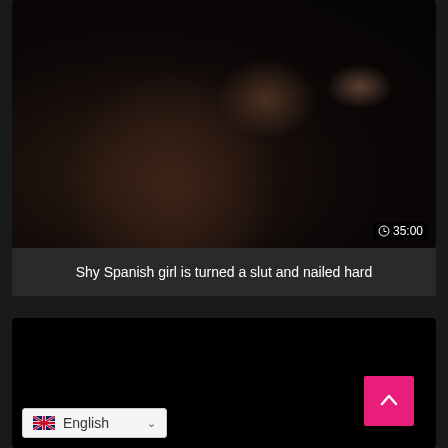[Figure (screenshot): Dark video thumbnail showing shadowy figures, with a duration badge showing a clock icon and '35:00' in the bottom right corner]
Shy Spanish girl is turned a slut and nailed hard
[Figure (screenshot): Black video player area with a pink/red scroll-to-top button (chevron up arrow) in the bottom right, and an English language selector with UK flag in the bottom left]